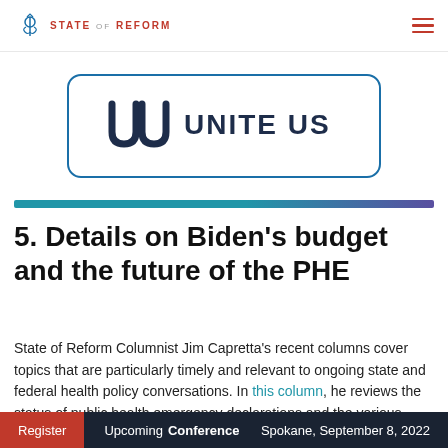STATE OF REFORM
[Figure (logo): Unite Us logo inside a rounded rectangle border — two stylized 'U' shapes followed by 'UNITE US' in bold dark navy text]
5. Details on Biden’s budget and the future of the PHE
State of Reform Columnist Jim Capretta’s recent columns cover topics that are particularly timely and relevant to ongoing state and federal health policy conversations. In this column, he reviews the status of public health emergency declarations and the various flexibilities put in place during the COVID-19 pandemic
Register  Upcoming Conference  Spokane, September 8, 2022